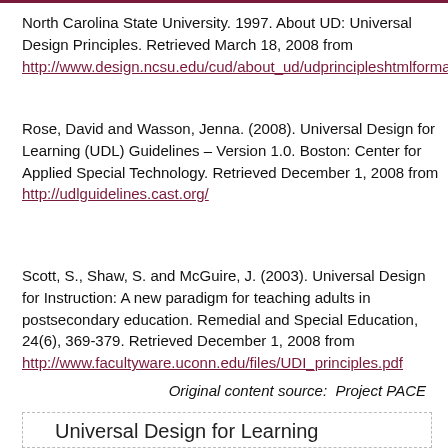North Carolina State University. 1997. About UD: Universal Design Principles. Retrieved March 18, 2008 from http://www.design.ncsu.edu/cud/about_ud/udprincipleshtmlformat.html
Rose, David and Wasson, Jenna. (2008). Universal Design for Learning (UDL) Guidelines – Version 1.0. Boston: Center for Applied Special Technology. Retrieved December 1, 2008 from http://udlguidelines.cast.org/
Scott, S., Shaw, S. and McGuire, J. (2003). Universal Design for Instruction: A new paradigm for teaching adults in postsecondary education. Remedial and Special Education, 24(6), 369-379. Retrieved December 1, 2008 from http://www.facultyware.uconn.edu/files/UDI_principles.pdf
Original content source:  Project PACE
Universal Design for Learning